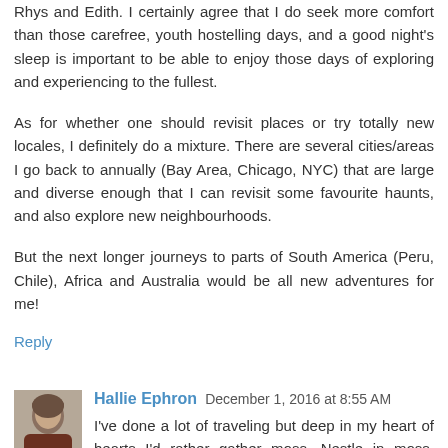Rhys and Edith. I certainly agree that I do seek more comfort than those carefree, youth hostelling days, and a good night's sleep is important to be able to enjoy those days of exploring and experiencing to the fullest.
As for whether one should revisit places or try totally new locales, I definitely do a mixture. There are several cities/areas I go back to annually (Bay Area, Chicago, NYC) that are large and diverse enough that I can revisit some favourite haunts, and also explore new neighbourhoods.
But the next longer journeys to parts of South America (Peru, Chile), Africa and Australia would be all new adventures for me!
Reply
Hallie Ephron  December 1, 2016 at 8:55 AM
I've done a lot of traveling but deep in my heart of hearts I'd rather gather moss. Nestle in moss. Luxuriate in moss. Home is where my heart is.
Reply